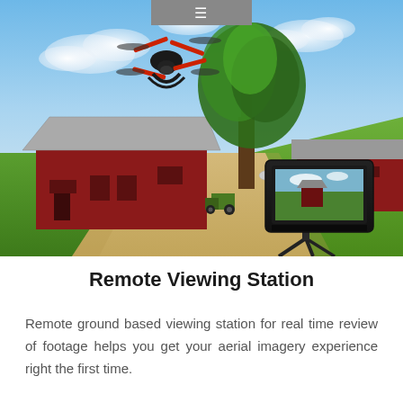[Figure (photo): Aerial drone with red and black arms flying above a rural farm scene with red barns, green grass, a gravel driveway, and a large tree. In the foreground, a remote viewing monitor on a tripod shows a live feed from the drone's camera.]
Remote Viewing Station
Remote ground based viewing station for real time review of footage helps you get your aerial imagery experience right the first time.